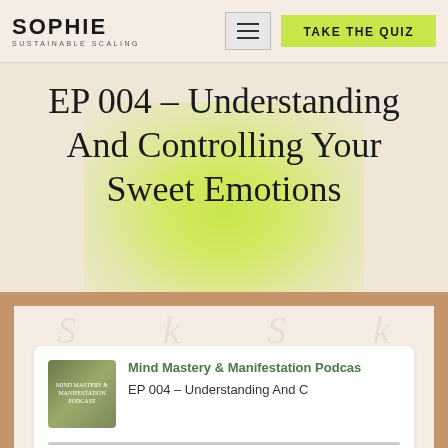SOPHIE | SUSTAINABLE SCALING
EP 004 – Understanding And Controlling Your Sweet Emotions
[Figure (screenshot): Podcast player widget showing Mind Mastery & Manifestation Podcast, EP 004 – Understanding And C, with play button, 1X speed, and 00:00 / timestamp]